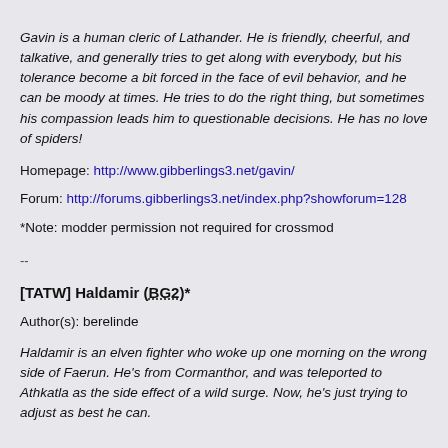Gavin is a human cleric of Lathander. He is friendly, cheerful, and talkative, and generally tries to get along with everybody, but his tolerance become a bit forced in the face of evil behavior, and he can be moody at times. He tries to do the right thing, but sometimes his compassion leads him to questionable decisions. He has no love of spiders!
Homepage: http://www.gibberlings3.net/gavin/
Forum: http://forums.gibberlings3.net/index.php?showforum=128
*Note: modder permission not required for crossmod
--
[TATW] Haldamir (BG2)*
Author(s): berelinde
Haldamir is an elven fighter who woke up one morning on the wrong side of Faerun. He's from Cormanthor, and was teleported to Athkatla as the side effect of a wild surge. Now, he's just trying to adjust as best he can.